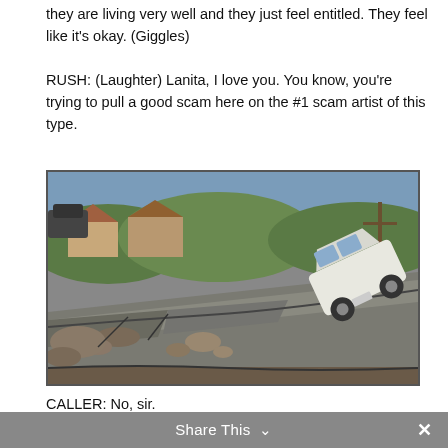they are living very well and they just feel entitled. They feel like it's okay. (Giggles)
RUSH: (Laughter) Lanita, I love you. You know, you're trying to pull a good scam here on the #1 scam artist of this type.
[Figure (photo): A road buckled and cracked from a landslide or earthquake, with a white SUV tipped sideways on the damaged pavement. Houses and green hills visible in background.]
CALLER: No, sir.
RUSH: See, I hear you laughing.
Share This ∨  ✕